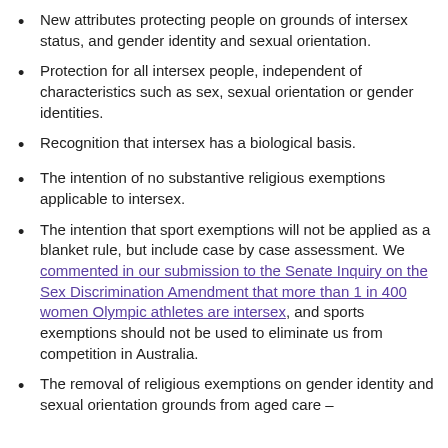New attributes protecting people on grounds of intersex status, and gender identity and sexual orientation.
Protection for all intersex people, independent of characteristics such as sex, sexual orientation or gender identities.
Recognition that intersex has a biological basis.
The intention of no substantive religious exemptions applicable to intersex.
The intention that sport exemptions will not be applied as a blanket rule, but include case by case assessment. We commented in our submission to the Senate Inquiry on the Sex Discrimination Amendment that more than 1 in 400 women Olympic athletes are intersex, and sports exemptions should not be used to eliminate us from competition in Australia.
The removal of religious exemptions on gender identity and sexual orientation grounds from aged care –